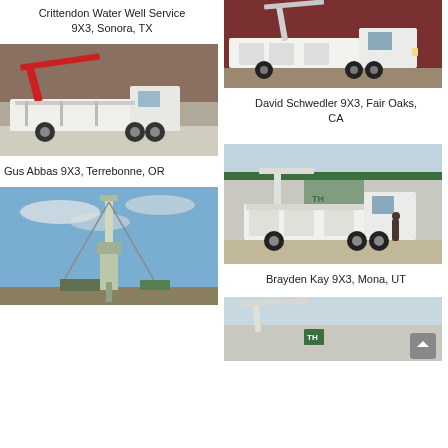Crittendon Water Well Service 9X3, Sonora, TX
[Figure (photo): White truck with drill rig mounted, viewed from side, in garage/warehouse setting (Crittendon Water Well Service)]
Gus Abbas 9X3, Terrebonne, OR
[Figure (photo): Bottom portion of a portable drilling rig against blue sky background (Gus Abbas)]
[Figure (photo): White service truck with crane/rig mounted, viewed from side, in outdoor lot with red/brown wall (David Schwedler)]
David Schwedler 9X3, Fair Oaks, CA
[Figure (photo): White service truck with crane/rig mounted, viewed from side, parked outside green building (Brayden Kay)]
Brayden Kay 9X3, Mona, UT
[Figure (photo): Partial view of a drill rig or crane truck outside building, partially visible at bottom right of page]